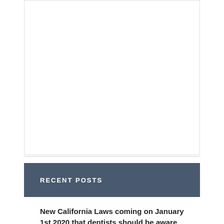[Figure (other): White rectangular content area, mostly blank/empty]
RECENT POSTS
New California Laws coming on January 1st 2020 that dentists should be aware of